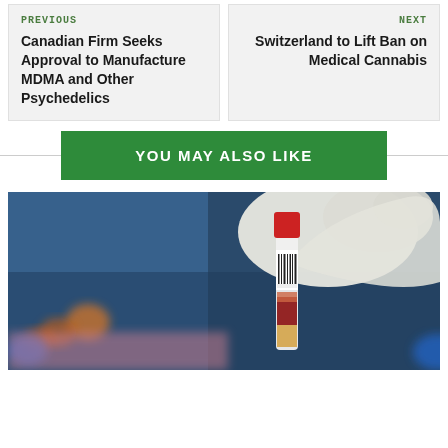PREVIOUS
Canadian Firm Seeks Approval to Manufacture MDMA and Other Psychedelics
NEXT
Switzerland to Lift Ban on Medical Cannabis
YOU MAY ALSO LIKE
[Figure (photo): A gloved hand holding a blood sample test tube with a barcode label, with blurred laboratory vials in the background]